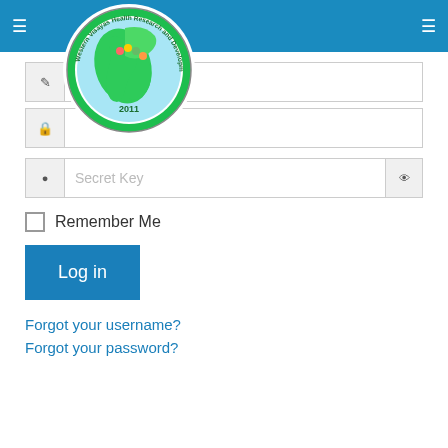[Figure (logo): Western Visayas Health Research and Development Consortium circular logo with green map design, 2011]
Secret Key
Remember Me
Log in
Forgot your username?
Forgot your password?